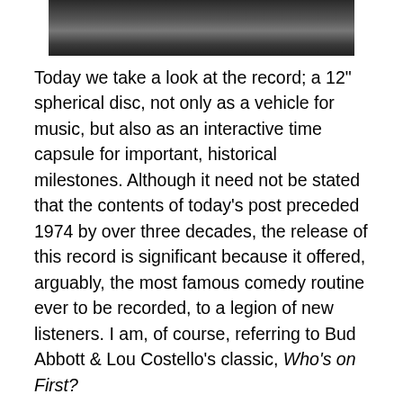[Figure (photo): Partial photo of a person, cropped at top, dark clothing visible]
Today we take a look at the record; a 12" spherical disc, not only as a vehicle for music, but also as an interactive time capsule for important, historical milestones. Although it need not be stated that the contents of today's post preceded 1974 by over three decades, the release of this record is significant because it offered, arguably, the most famous comedy routine ever to be recorded, to a legion of new listeners. I am, of course, referring to Bud Abbott & Lou Costello's classic, Who's on First?
The classic baseball routine is as renowned as Baseball itself. Abbott & Costello's Who's on First? is Baseball's unofficial psalm. It was so perennial, that Time magazine deemed it the Best Comedy Sketch of the 20th Century. Who knew this sketch would be so loved by so many...